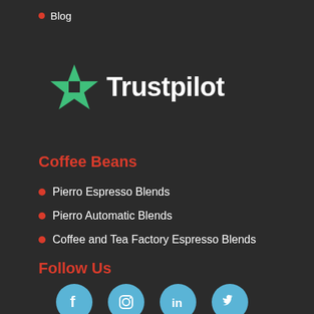Blog
[Figure (logo): Trustpilot logo with green star and white text]
Coffee Beans
Pierro Espresso Blends
Pierro Automatic Blends
Coffee and Tea Factory Espresso Blends
Follow Us
[Figure (infographic): Social media icons: Facebook, Instagram, LinkedIn, Twitter in light blue circles]